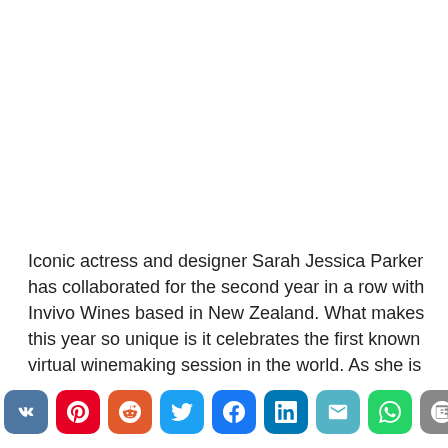Iconic actress and designer Sarah Jessica Parker has collaborated for the second year in a row with Invivo Wines based in New Zealand. What makes this year so unique is it celebrates the first known virtual winemaking session in the world. As she is affectionately known, SJP and co-founders of Invivo Wines, Tim Lightbourne and winemaker Rob